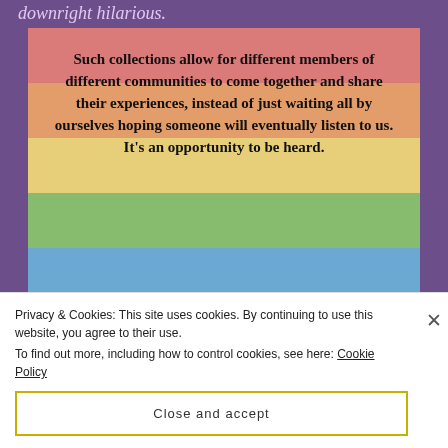downright hilarious.
[Figure (photo): A rainbow pride flag with a bold quote overlaid: 'Such collections allow for different members of different communities to come together and share their experiences, instead of just waiting all by ourselves hoping someone will eventually listen to us. It’s an opportunity to be heard.' Attributed to RACHEL ROTH, POET, SMITTEN]
Privacy & Cookies: This site uses cookies. By continuing to use this website, you agree to their use.
To find out more, including how to control cookies, see here: Cookie Policy
Close and accept